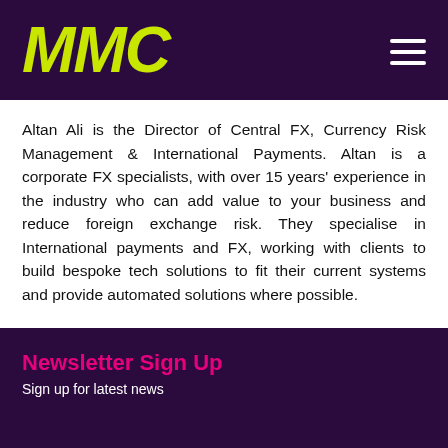MMC
Altan Ali is the Director of Central FX, Currency Risk Management & International Payments. Altan is a corporate FX specialists, with over 15 years' experience in the industry who can add value to your business and reduce foreign exchange risk. They specialise in International payments and FX, working with clients to build bespoke tech solutions to fit their current systems and provide automated solutions where possible.
Newsletter Sign Up
Sign up for latest news